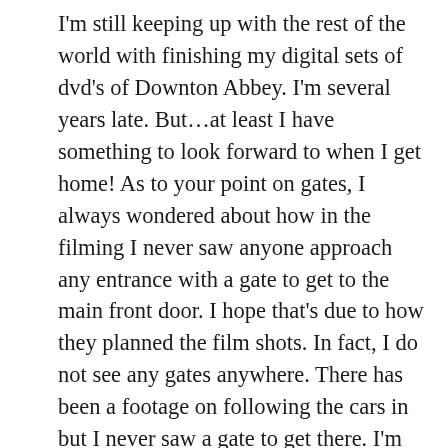I'm still keeping up with the rest of the world with finishing my digital sets of dvd's of Downton Abbey. I'm several years late. But…at least I have something to look forward to when I get home! As to your point on gates, I always wondered about how in the filming I never saw anyone approach any entrance with a gate to get to the main front door. I hope that's due to how they planned the film shots. In fact, I do not see any gates anywhere. There has been a footage on following the cars in but I never saw a gate to get there. I'm into season 3 where our American legend Shirley MacLaine appears! And with Maggie Smith another screen legend!! I hope the rumors I hear are true and there is going to be a Downton Abbey movie. There needs to be. I don't think 6 running seasons are long...